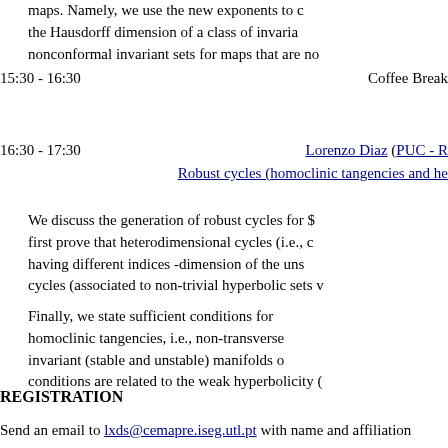maps. Namely, we use the new exponents to compute the Hausdorff dimension of a class of invariant nonconformal invariant sets for maps that are no
15:30 - 16:30    Coffee Break
16:30 - 17:30    Lorenzo Diaz (PUC - R...
Robust cycles (homoclinic tangencies and he...
We discuss the generation of robust cycles for $ first prove that heterodimensional cycles (i.e., c having different indices -dimension of the uns cycles (associated to non-trivial hyperbolic sets v
Finally, we state sufficient conditions for homoclinic tangencies, i.e., non-transverse invariant (stable and unstable) manifolds o conditions are related to the weak hyperbolicity (
REGISTRATION
Send an email to lxds@cemapre.iseg.utl.pt with name and affiliation